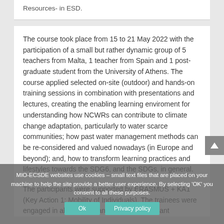Resources- in ESD.
The course took place from 15 to 21 May 2022 with the participation of a small but rather dynamic group of 5 teachers from Malta, 1 teacher from Spain and 1 post-graduate student from the University of Athens. The course applied selected on-site (outdoor) and hands-on training sessions in combination with presentations and lectures, creating the enabling learning enviroment for understanding how NCWRs can contribute to climate change adaptation, particularly to water scarce communities; how past water management methods can be re-considered and valued nowadays (in Europe and beyond); and, how to transform learning practices and lifestyles towards the SDG6, and the SDGs, in general.
The participants were supported by ERASMUS + KA1 (Key Action 1: Mobility of Individuals). The trainees were engaged in all sessions and provided important
MIO-ECSDE websites use cookies – small text files that are placed on your machine to help the site provide a better user experience. By selecting 'OK' you consent to all these purposes.